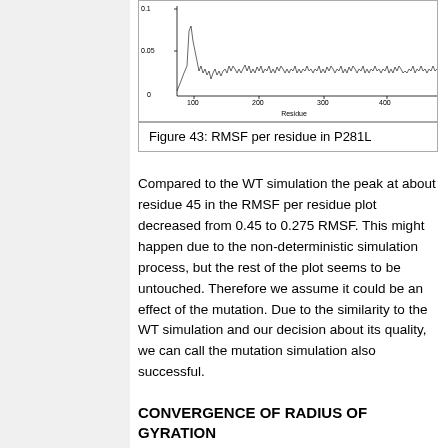[Figure (continuous-plot): Top portion of RMSF per residue plot for P281L, showing x-axis (Residue, ~100-400+) and y-axis (0, 0.05, 0.1). Dense waveform signal is visible.]
Figure 43: RMSF per residue in P281L
Compared to the WT simulation the peak at about residue 45 in the RMSF per residue plot decreased from 0.45 to 0.275 RMSF. This might happen due to the non-deterministic simulation process, but the rest of the plot seems to be untouched. Therefore we assume it could be an effect of the mutation. Due to the similarity to the WT simulation and our decision about its quality, we can call the mutation simulation also successful.
CONVERGENCE OF RADIUS OF GYRATION
[Figure (continuous-plot): Bottom portion showing start of Radius of gyration figure.]